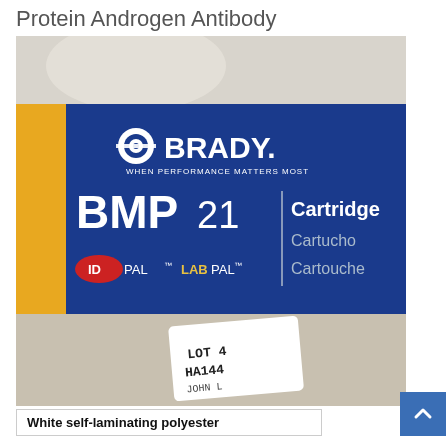Protein Androgen Antibody
[Figure (photo): Photograph of a Brady BMP21 label cartridge box (blue and yellow) with IDPAL and LABPAL branding, showing a white label printed with 'LOT 4 HA144 JOHN L', and a white self-laminating polyester label at the bottom.]
White self-laminating polyester